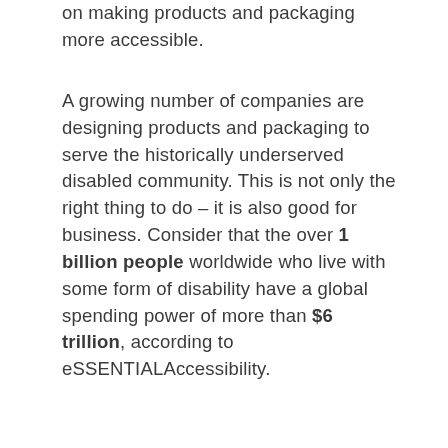on making products and packaging more accessible.
A growing number of companies are designing products and packaging to serve the historically underserved disabled community. This is not only the right thing to do – it is also good for business. Consider that the over 1 billion people worldwide who live with some form of disability have a global spending power of more than $6 trillion, according to eSSENTIALAccessibility.